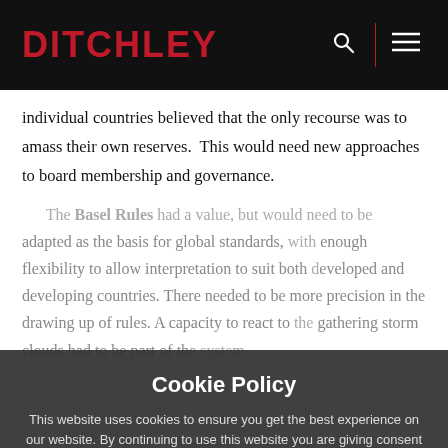DITCHLEY
individual countries believed that the only recourse was to amass their own reserves.  This would need new approaches to board membership and governance.
The Basel Rules had a value, but would need to be adapted as the basis for global standards, with enough flexibility to allow interpretation to suit both developed and developing countries. There needed to be more precision in the drawing up of rules. A capacity to react to the gathering storm clouds had to be part of the system.
Cookie Policy
This website uses cookies to ensure you get the best experience on our website. By continuing to use this website you are giving consent to cookies being used.
ACCEPT
More Information